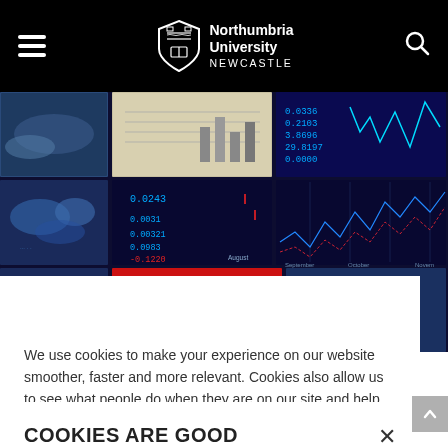Northumbria University NEWCASTLE
[Figure (photo): A curved wall of multiple display screens showing financial data, stock charts, world maps, and red/blue data panels]
COOKIES ARE GOOD
We use cookies to make your experience on our website smoother, faster and more relevant. Cookies also allow us to see what people do when they are on our site and help us